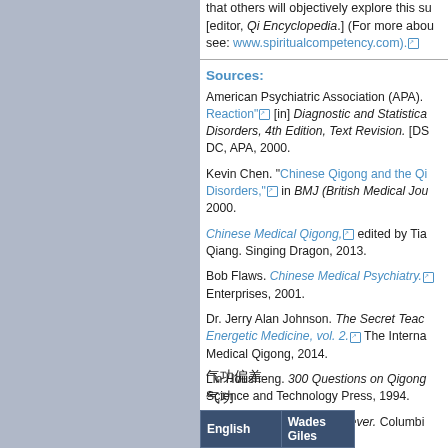that others will objectively explore this su [editor, Qi Encyclopedia.] (For more abou see: www.spiritualcompetency.com).
Sources:
American Psychiatric Association (APA). Reaction" [in] Diagnostic and Statistical Disorders, 4th Edition, Text Revision. [DS DC, APA, 2000.
Kevin Chen. "Chinese Qigong and the Qi Disorders," in BMJ (British Medical Jou 2000.
Chinese Medical Qigong, edited by Tia Qiang. Singing Dragon, 2013.
Bob Flaws. Chinese Medical Psychiatry. Enterprises, 2001.
Dr. Jerry Alan Johnson. The Secret Teac Energetic Medicine, vol. 2. The Interna Medical Qigong, 2014.
Lin Housheng. 300 Questions on Qigong Science and Technology Press, 1994.
David A. Palmer. Qigong Fever. Columbia
| English | Wades Giles |
| --- | --- |